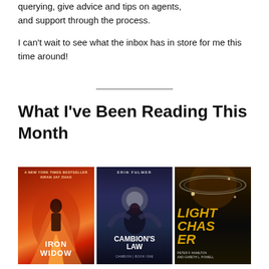querying, give advice and tips on agents, and support through the process.
I can't wait to see what the inbox has in store for me this time around!
What I've Been Reading This Month
[Figure (photo): Three book covers side by side: Iron Widow by Xiran Jay Zhao, Cambion's Law by Erin Fulmer, and Light Chaser by Peter F. Hamilton and Gareth L. Powell]